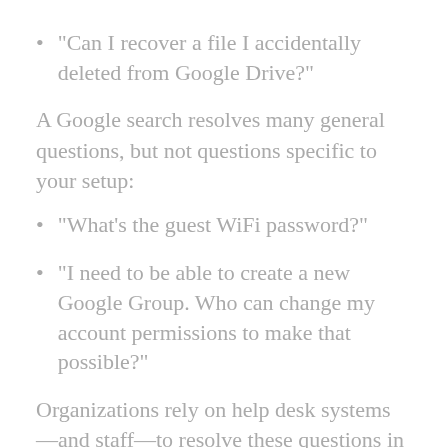“Can I recover a file I accidentally deleted from Google Drive?”
A Google search resolves many general questions, but not questions specific to your setup:
“What’s the guest WiFi password?”
“I need to be able to create a new Google Group. Who can change my account permissions to make that possible?”
Organizations rely on help desk systems—and staff—to resolve these questions in many organizations, but not every organization maintains a formal help desk. Without one, people tend to direct questions to any I.T. staff member, or to tech savvy co-